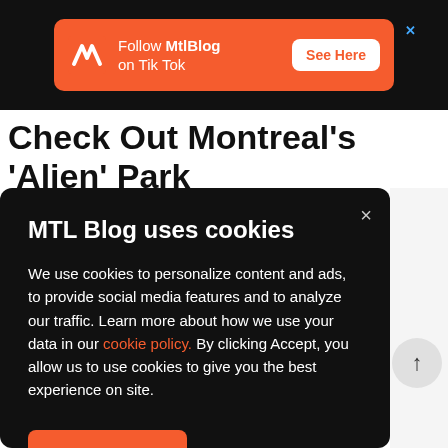[Figure (screenshot): Orange advertisement banner for MtlBlog TikTok with MTL Blog logo, text 'Follow MtlBlog on Tik Tok', and a white 'See Here' button. Blue X close button in top-right corner.]
Check Out Montreal's 'Alien' Park
MTL Blog uses cookies
We use cookies to personalize content and ads, to provide social media features and to analyze our traffic. Learn more about how we use your data in our cookie policy. By clicking Accept, you allow us to use cookies to give you the best experience on site.
Accept